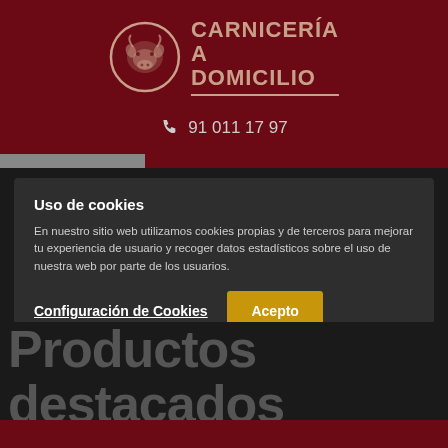[Figure (logo): Carnicería a Domicilio logo with cow icon in circle and bold text]
91 011 17 97
Uso de cookies
En nuestro sitio web utilizamos cookies propias y de terceros para mejorar tu experiencia de usuario y recoger datos estadísticos sobre el uso de nuestra web por parte de los usuarios.
Configuración de Cookies
Acepto
Productos destacados